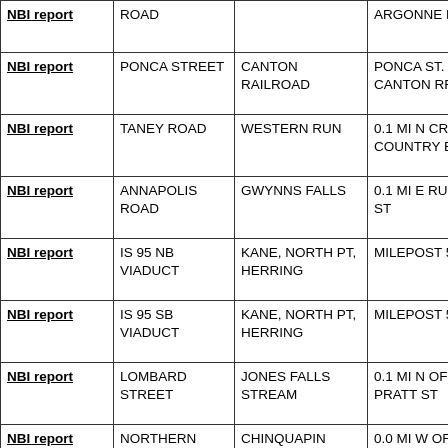| NBI report | ROAD |  | ARGONNE DR |
| NBI report | PONCA STREET | CANTON RAILROAD | PONCA ST. OVER CANTON RR |
| NBI report | TANEY ROAD | WESTERN RUN | 0.1 MI N CROSS COUNTRY BL |
| NBI report | ANNAPOLIS ROAD | GWYNNS FALLS | 0.1 MI E RUSSELL ST |
| NBI report | IS 95 NB VIADUCT | KANE, NORTH PT, HERRING | MILEPOST 59.6 |
| NBI report | IS 95 SB VIADUCT | KANE, NORTH PT, HERRING | MILEPOST 59.6 |
| NBI report | LOMBARD STREET | JONES FALLS STREAM | 0.1 MI N OF PRATT ST |
| NBI report | NORTHERN | CHINQUAPIN | 0.0 MI W OF TH... |